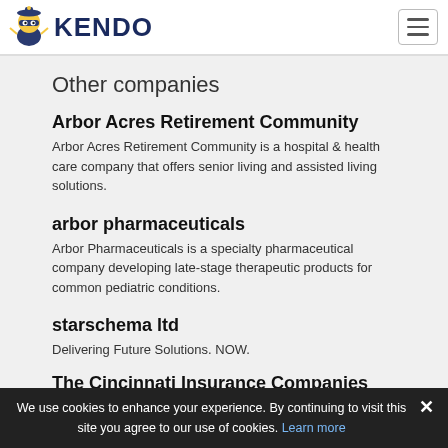KENDO
Other companies
Arbor Acres Retirement Community
Arbor Acres Retirement Community is a hospital & health care company that offers senior living and assisted living solutions.
arbor pharmaceuticals
Arbor Pharmaceuticals is a specialty pharmaceutical company developing late-stage therapeutic products for common pediatric conditions.
starschema ltd
Delivering Future Solutions. NOW.
The Cincinnati Insurance Companies
We use cookies to enhance your experience. By continuing to visit this site you agree to our use of cookies. Learn more